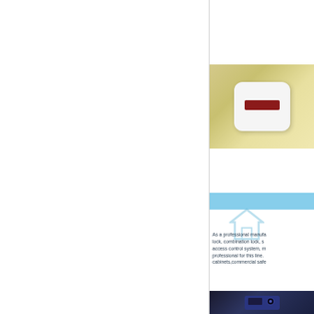[Figure (photo): White electronic device/lock with a red display screen, photographed against a yellow-beige background]
[Figure (infographic): Light blue banner with a house/home icon watermark in the background]
As a professional manufacturer of lock, combination lock, smart lock, access control system, m... professional for this line. cabinets,commercial safe...
[Figure (photo): Dark blue electronic lock or access control device, close-up photo]